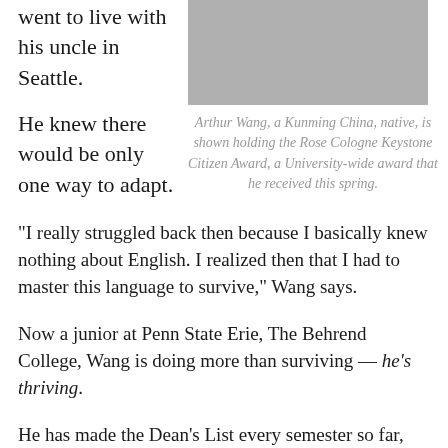went to live with his uncle in Seattle.
[Figure (photo): Person holding a framed award/certificate, photographed outdoors]
Arthur Wang, a Kunming China, native, is shown holding the Rose Cologne Keystone Citizen Award, a University-wide award that he received this spring.
He knew there would be only one way to adapt.
“I really struggled back then because I basically knew nothing about English. I realized then that I had to master this language to survive,” Wang says.
Now a junior at Penn State Erie, The Behrend College, Wang is doing more than surviving — he’s thriving.
He has made the Dean’s List every semester so far, has